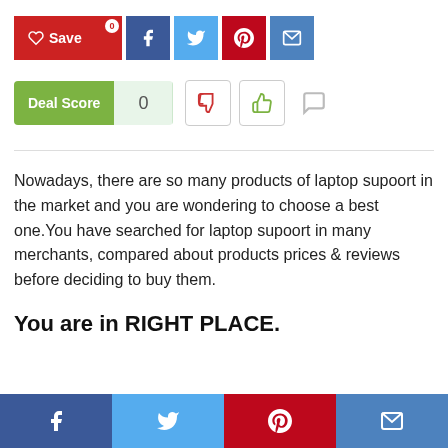[Figure (screenshot): Social sharing buttons: Save (red with heart icon and badge 0), Facebook (dark blue), Twitter (light blue), Pinterest (red), Email (blue)]
[Figure (infographic): Deal Score widget showing score of 0, thumbs down button, thumbs up button, and a comment icon]
Nowadays, there are so many products of laptop supoort in the market and you are wondering to choose a best one.You have searched for laptop supoort in many merchants, compared about products prices & reviews before deciding to buy them.
You are in RIGHT PLACE.
[Figure (infographic): Bottom sharing bar with Facebook, Twitter, Pinterest, and Email icons]